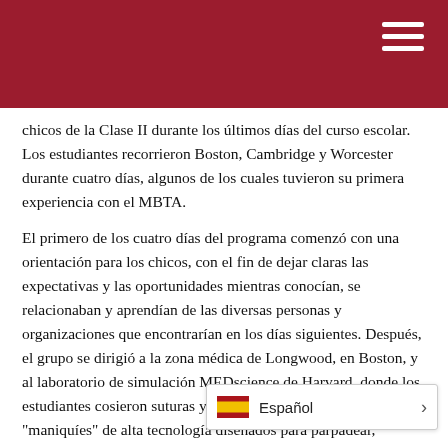chicos de la Clase II durante los últimos días del curso escolar. Los estudiantes recorrieron Boston, Cambridge y Worcester durante cuatro días, algunos de los cuales tuvieron su primera experiencia con el MBTA.
El primero de los cuatro días del programa comenzó con una orientación para los chicos, con el fin de dejar claras las expectativas y las oportunidades mientras conocían, se relacionaban y aprendían de las diversas personas y organizaciones que encontrarían en los días siguientes. Después, el grupo se dirigió a la zona médica de Longwood, en Boston, y al laboratorio de simulación MEDscience de Harvard, donde los estudiantes cosieron suturas y evaluaron las constantes vitales de "maniquíes" de alta tecnología diseñados para parpadear, sangrar, tener pulso y llorar como corresponde. Allí los estudiantes también practicaron la evaluación de los síntomas de un paciente de prueba, diagnosticar la causa de las dolencias.